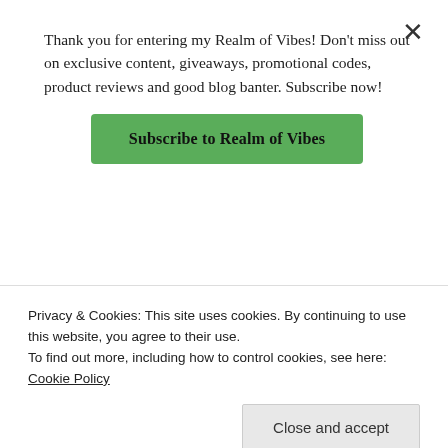Thank you for entering my Realm of Vibes! Don't miss out on exclusive content, giveaways, promotional codes, product reviews and good blog banter. Subscribe now!
Subscribe to Realm of Vibes
★ Liked by 1 person
REPLY
[Figure (photo): Circular avatar/profile photo, partially visible]
Privacy & Cookies: This site uses cookies. By continuing to use this website, you agree to their use. To find out more, including how to control cookies, see here: Cookie Policy
Close and accept
have somewhere exciting planned